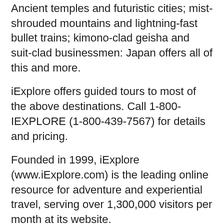Ancient temples and futuristic cities; mist-shrouded mountains and lightning-fast bullet trains; kimono-clad geisha and suit-clad businessmen: Japan offers all of this and more.
iExplore offers guided tours to most of the above destinations. Call 1-800-IEXPLORE (1-800-439-7567) for details and pricing.
Founded in 1999, iExplore (www.iExplore.com) is the leading online resource for adventure and experiential travel, serving over 1,300,000 visitors per month at its website.
[tags]iExplore adventure travel, online resource for experiential travel, Summer World Travel Destinations[/tags]